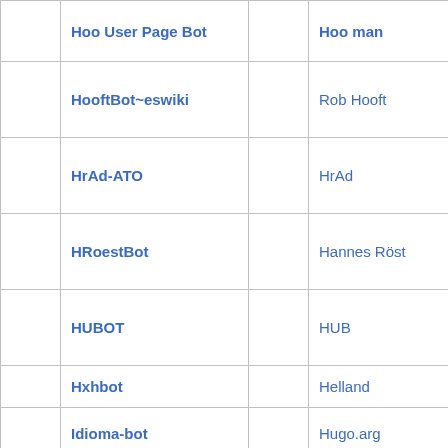|  | Hoo User Page Bot |  | Hoo man |
|  | HooftBot~eswiki |  | Rob Hooft |
|  | HrAd-ATO |  | HrAd |
|  | HRoestBot |  | Hannes Röst |
|  | HUBOT |  | HUB |
|  | Hxhbot |  | Helland |
|  | Idioma-bot |  | Hugo.arg |
|  | IluvatarBot |  | Iluvtr |
|  | ... |  | ... |